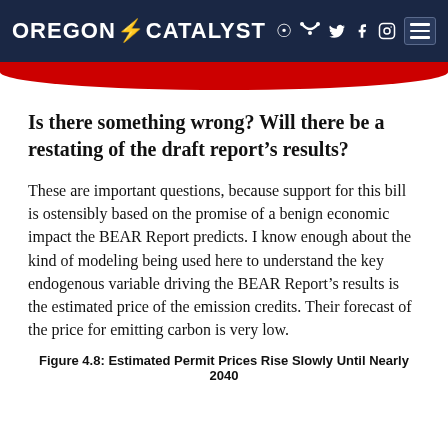OREGON CATALYST
Is there something wrong? Will there be a restating of the draft report’s results?
These are important questions, because support for this bill is ostensibly based on the promise of a benign economic impact the BEAR Report predicts. I know enough about the kind of modeling being used here to understand the key endogenous variable driving the BEAR Report’s results is the estimated price of the emission credits. Their forecast of the price for emitting carbon is very low.
Figure 4.8: Estimated Permit Prices Rise Slowly Until Nearly 2040